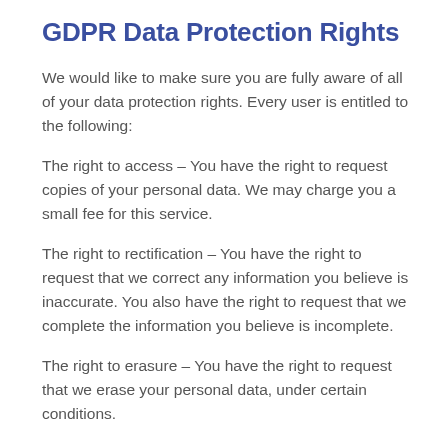GDPR Data Protection Rights
We would like to make sure you are fully aware of all of your data protection rights. Every user is entitled to the following:
The right to access – You have the right to request copies of your personal data. We may charge you a small fee for this service.
The right to rectification – You have the right to request that we correct any information you believe is inaccurate. You also have the right to request that we complete the information you believe is incomplete.
The right to erasure – You have the right to request that we erase your personal data, under certain conditions.
The right to restrict processing – You have the right to